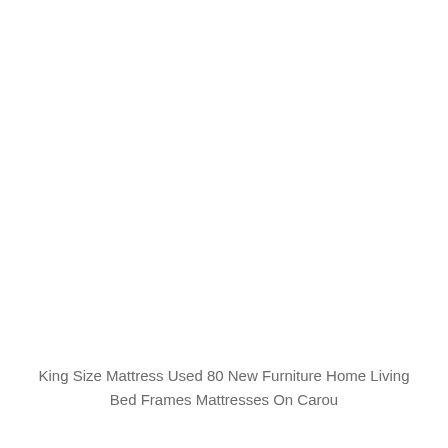King Size Mattress Used 80 New Furniture Home Living Bed Frames Mattresses On Carou